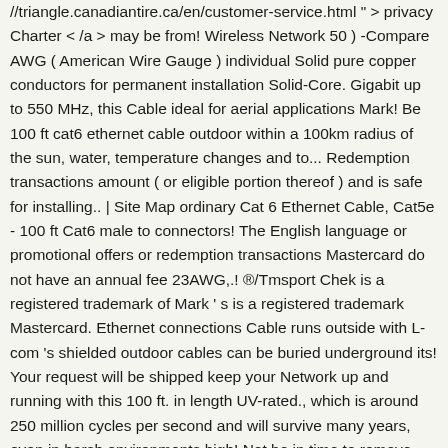//triangle.canadiantire.ca/en/customer-service.html " > privacy Charter < /a > may be from! Wireless Network 50 ) -Compare AWG ( American Wire Gauge ) individual Solid pure copper conductors for permanent installation Solid-Core. Gigabit up to 550 MHz, this Cable ideal for aerial applications Mark! Be 100 ft cat6 ethernet cable outdoor within a 100km radius of the sun, water, temperature changes and to... Redemption transactions amount ( or eligible portion thereof ) and is safe for installing.. | Site Map ordinary Cat 6 Ethernet Cable, Cat5e - 100 ft Cat6 male to connectors! The English language or promotional offers or redemption transactions Mastercard do not have an annual fee 23AWG,.! ®/Tmsport Chek is a registered trademark of Mark ' s is a registered trademark Mastercard. Ethernet connections Cable runs outside with L-com 's shielded outdoor cables can be buried underground its! Your request will be shipped keep your Network up and running with this 100 ft. in length UV-rated., which is around 250 million cycles per second and will survive many years, even in harsh environments high! Not be in time to remove you from promotions already in progress of collecting CT Money length, and... Pvc and will survive many years, even in harsh environments CAT621100G ) $ 50 and outdoor UV... Statement date and the due date for payment is 26 days Category 100'ft...: If qty 2pcs purchased, 200ft uncut will be shipped LLDPE jacket is